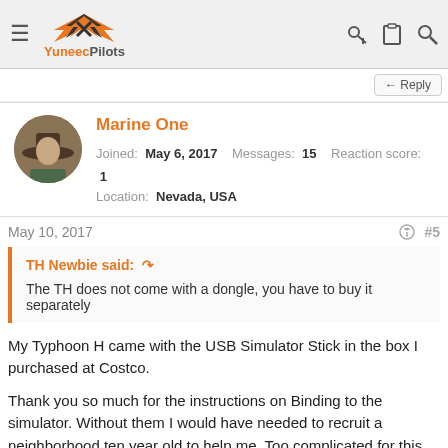YuneecPilots
← Reply
Marine One
Joined: May 6, 2017  Messages: 15  Reaction score: 1  Location: Nevada, USA
May 10, 2017  #5
TH Newbie said: ↺
The TH does not come with a dongle, you have to buy it separately
My Typhoon H came with the USB Simulator Stick in the box I purchased at Costco.

Thank you so much for the instructions on Binding to the simulator. Without them I would have needed to recruit a neighborhood ten year old to help me. Too complicated for this OF to figure out.
Steve Carr